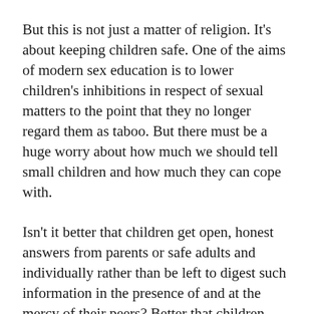But this is not just a matter of religion. It's about keeping children safe. One of the aims of modern sex education is to lower children's inhibitions in respect of sexual matters to the point that they no longer regard them as taboo. But there must be a huge worry about how much we should tell small children and how much they can cope with.
Isn't it better that children get open, honest answers from parents or safe adults and individually rather than be left to digest such information in the presence of and at the mercy of their peers? Better that children seek answers when they want to that adults can keep age-appropriate, and make less of a big deal of?
The modern obsession with demystifying sex –